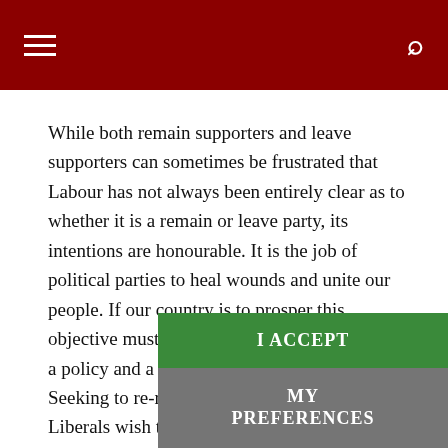Navigation header with hamburger menu and search icon
While both remain supporters and leave supporters can sometimes be frustrated that Labour has not always been entirely clear as to whether it is a remain or leave party, its intentions are honourable. It is the job of political parties to heal wounds and unite our people. If our country is to prosper this objective must be the core guide to developing a policy and a programme for government. Seeking to re-run the referendum, as the Liberals wish to do, will not achieve that aim of unity.
Labour must continue to focus on its radical programme for government that inspired millions to vote fo... building council housing to tackling climate... is the only party capable of transforming this country in the